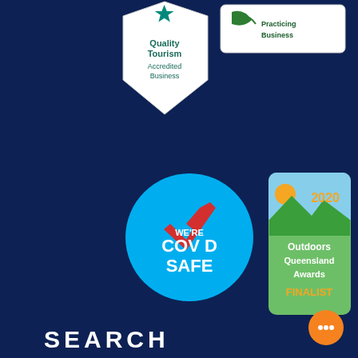[Figure (logo): Quality Tourism Accredited Business badge - white pentagon/shield shape with teal star and text 'Quality Tourism Accredited Business']
[Figure (logo): Practicing Business badge - white rounded rectangle with green leaf/wave icon and text 'Practicing Business']
[Figure (logo): We're COVID Safe circular badge - blue circle with white text 'WE'RE COVID SAFE' and red checkmark]
[Figure (logo): 2020 Outdoors Queensland Awards FINALIST badge - rounded rectangle with mountain/sky scene, '2020', 'Outdoors Queensland Awards', 'FINALIST' in gold]
[Figure (logo): cm3 logo - green arc/swoosh with blue-grey 'cm' text and superscript '3', with tagline 'GREENLIGHT ONLINE RISK MANAGEMENT']
SEARCH
[Figure (other): Orange chat bubble button icon in bottom right corner]